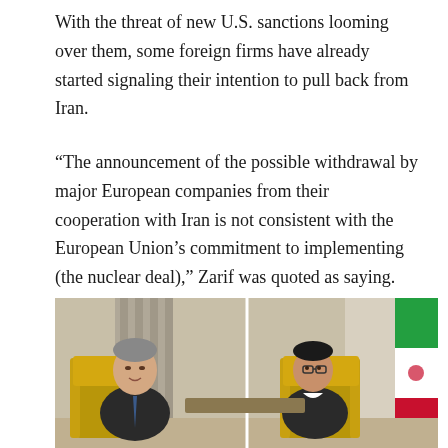With the threat of new U.S. sanctions looming over them, some foreign firms have already started signaling their intention to pull back from Iran.
“The announcement of the possible withdrawal by major European companies from their cooperation with Iran is not consistent with the European Union’s commitment to implementing (the nuclear deal),” Zarif was quoted as saying.
[Figure (photo): Two men seated in ornate gold chairs in a formal meeting room with curtains and a flag. One man on the left with gray hair gestures while talking, the other on the right wears glasses and listens. An Iranian flag is visible in the background on the right.]